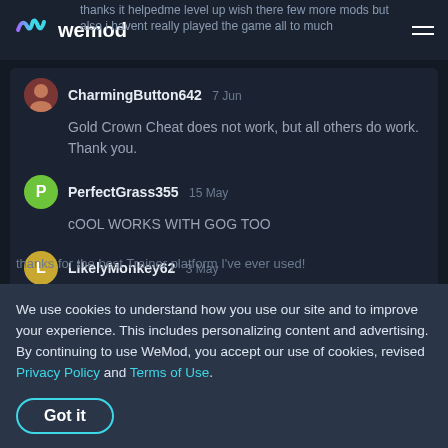wemod
thanks it helpedme level up wish there few more mods but also i havent really played the game all to much
CharmingButton642  7 Jun
Gold Crown Cheat does not work, but all others do work. Thank you.
PerfectGrass355  15 May
cOOL WORKS WITH GOG TOO
LikelyMonkey62  3 May
thx! for the trainer
We use cookies to understand how you use our site and to improve your experience. This includes personalizing content and advertising. By continuing to use WeMod, you accept our use of cookies, revised Privacy Policy and Terms of Use.
Got it